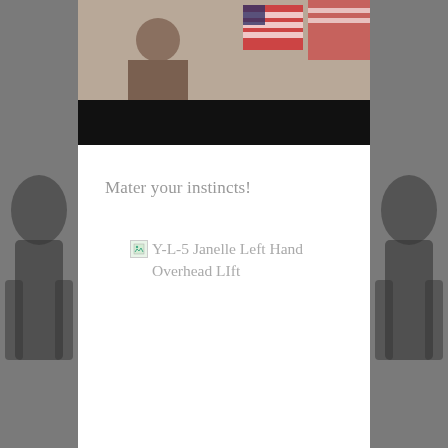[Figure (photo): Partial photo at top showing what appears to be a person in a military or official setting with an American flag visible, bottom portion is blacked out]
Mater your instincts!
[Figure (photo): Broken/missing image with alt text: Y-L-5 Janelle Left Hand Overhead LIft]